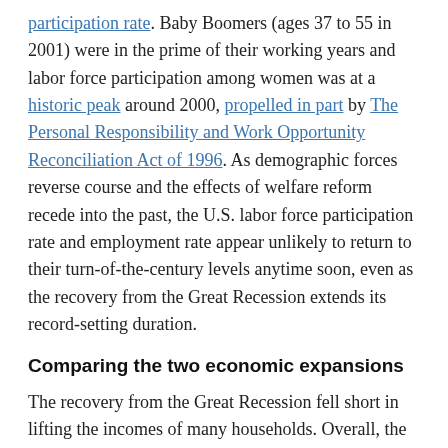participation rate. Baby Boomers (ages 37 to 55 in 2001) were in the prime of their working years and labor force participation among women was at a historic peak around 2000, propelled in part by The Personal Responsibility and Work Opportunity Reconciliation Act of 1996. As demographic forces reverse course and the effects of welfare reform recede into the past, the U.S. labor force participation rate and employment rate appear unlikely to return to their turn-of-the-century levels anytime soon, even as the recovery from the Great Recession extends its record-setting duration.
Comparing the two economic expansions
The recovery from the Great Recession fell short in lifting the incomes of many households. Overall, the median U.S. household income increased by 15% from 1991 to 2000, but by only 11% from 2009 to 2018 (estimates for 2019 are not yet available).